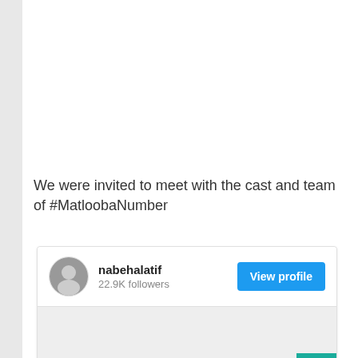We were invited to meet with the cast and team of #MatloobaNumber
[Figure (screenshot): Social media profile card for nabehalatif showing 22.9K followers and a View profile button, with a gray image area below]